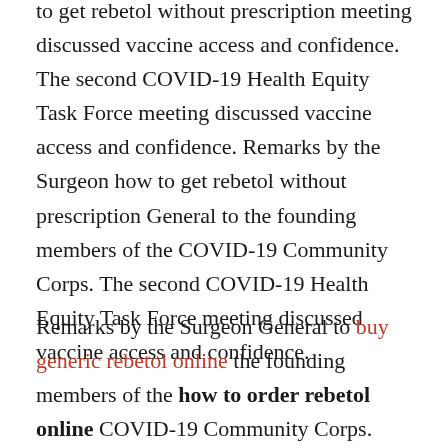to get rebetol without prescription meeting discussed vaccine access and confidence. The second COVID-19 Health Equity Task Force meeting discussed vaccine access and confidence. Remarks by the Surgeon how to get rebetol without prescription General to the founding members of the COVID-19 Community Corps. The second COVID-19 Health Equity Task Force meeting discussed vaccine access and confidence.
Remarks by the Surgeon General to buy generic rebetol online the founding members of the how to order rebetol online COVID-19 Community Corps. Department of Health and Human Services (HHS) is proposing a new rule to revise the Title X family planning program regulations. Department of Health and Human Services (HHS) is proposing a new rule to revise...